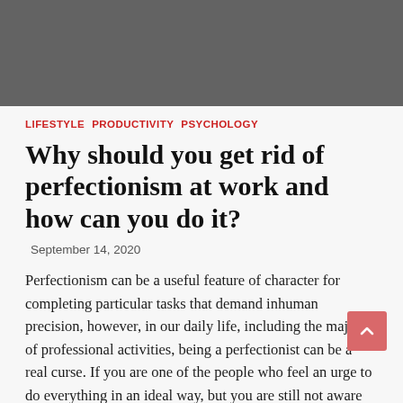[Figure (photo): Gray/dark rectangular hero image at top of page]
LIFESTYLE  PRODUCTIVITY  PSYCHOLOGY
Why should you get rid of perfectionism at work and how can you do it?
September 14, 2020
Perfectionism can be a useful feature of character for completing particular tasks that demand inhuman precision, however, in our daily life, including the majority of professional activities, being a perfectionist can be a real curse. If you are one of the people who feel an urge to do everything in an ideal way, but you are still not aware of the complications